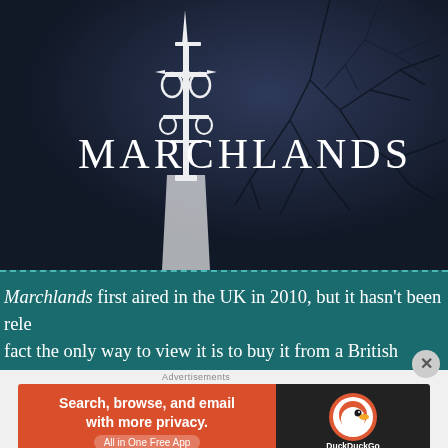[Figure (screenshot): Marchlands TV show title card — dark atmospheric image with bare tree branches silhouetted against a dark blue-grey sky, a decorative iron finial/weather vane in the foreground, and the show title 'MARCHLANDS' in white serif letters]
Marchlands first aired in the UK in 2010, but it hasn't been released in fact the only way to view it is to buy it from a British online re player that will play DVDs from Europe.   Along with watching
[Figure (screenshot): DuckDuckGo advertisement banner: orange left side reads 'Search, browse, and email with more privacy. All in One Free App', dark right side shows DuckDuckGo logo]
Advertisements